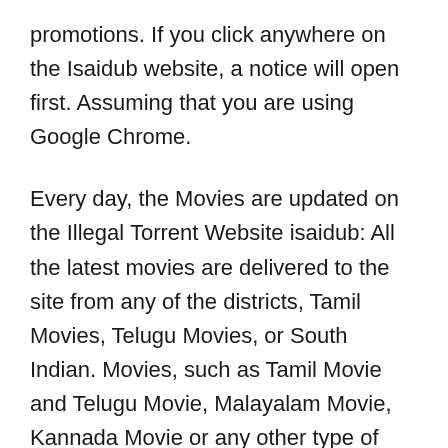promotions. If you click anywhere on the Isaidub website, a notice will open first. Assuming that you are using Google Chrome.
Every day, the Movies are updated on the Illegal Torrent Website isaidub: All the latest movies are delivered to the site from any of the districts, Tamil Movies, Telugu Movies, or South Indian. Movies, such as Tamil Movie and Telugu Movie, Malayalam Movie, Kannada Movie or any other type of Web Series, are all refreshed within 1 to 2 days on isaidub. The pilfered recordings can also be downloaded. This is also connected so let's see if we can find out which movies were updated on the Illegal Torrent site of isaidub.